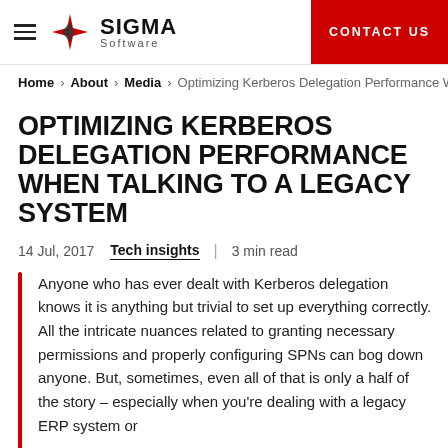Sigma Software | CONTACT US
Home > About > Media > Optimizing Kerberos Delegation Performance W
OPTIMIZING KERBEROS DELEGATION PERFORMANCE WHEN TALKING TO A LEGACY SYSTEM
14 Jul, 2017   Tech insights   |   3 min read
Anyone who has ever dealt with Kerberos delegation knows it is anything but trivial to set up everything correctly. All the intricate nuances related to granting necessary permissions and properly configuring SPNs can bog down anyone. But, sometimes, even all of that is only a half of the story – especially when you're dealing with a legacy ERP system or